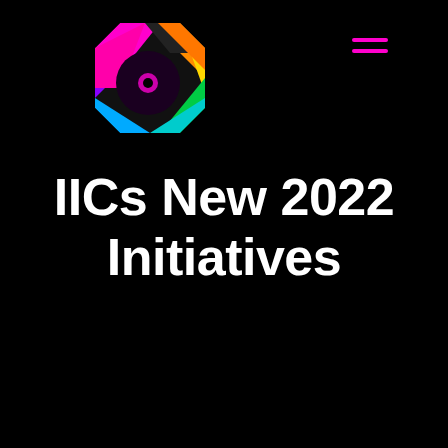[Figure (logo): IIC colorful hexagonal logo with multicolored segments (pink, orange, yellow, green, cyan, purple) and a circular element in the center, on black background]
[Figure (other): Hamburger menu icon with two horizontal magenta/pink lines]
IICs New 2022 Initiatives